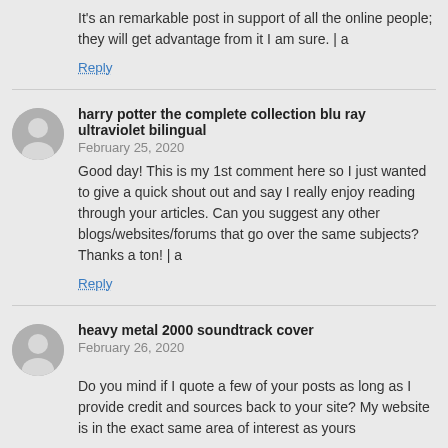It’s an remarkable post in support of all the online people; they will get advantage from it I am sure. | a
Reply
harry potter the complete collection blu ray ultraviolet bilingual
February 25, 2020
Good day! This is my 1st comment here so I just wanted to give a quick shout out and say I really enjoy reading through your articles. Can you suggest any other blogs/websites/forums that go over the same subjects? Thanks a ton! | a
Reply
heavy metal 2000 soundtrack cover
February 26, 2020
Do you mind if I quote a few of your posts as long as I provide credit and sources back to your site? My website is in the exact same area of interest as yours